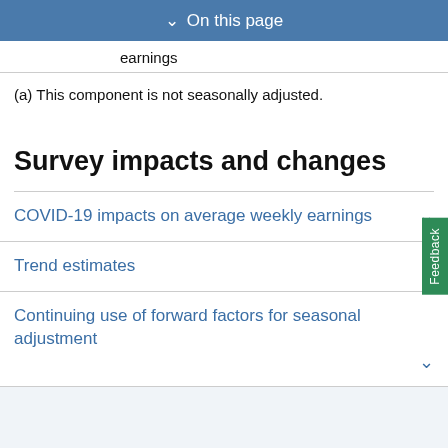On this page
earnings
(a) This component is not seasonally adjusted.
Survey impacts and changes
COVID-19 impacts on average weekly earnings
Trend estimates
Continuing use of forward factors for seasonal adjustment